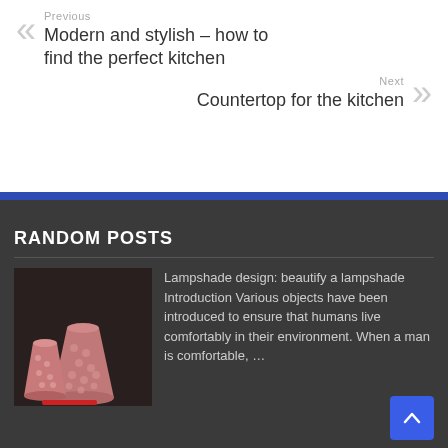Previous
Modern and stylish – how to find the perfect kitchen
Next
Countertop for the kitchen
RANDOM POSTS
[Figure (photo): Two pink lampshades with textured pattern, one smaller and one larger, on a dark background with a red marker in front]
Lampshade design: beautify a lampshade Introduction Various objects have been introduced to ensure that humans live comfortably in their environment. When a man is comfortable, …